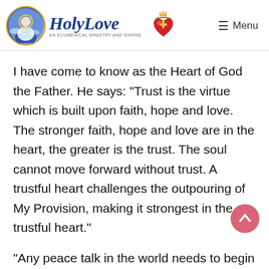Holy Love — An Ecumenical Ministry and Shrine | Menu
I have come to know as the Heart of God the Father. He says: "Trust is the virtue which is built upon faith, hope and love. The stronger faith, hope and love are in the heart, the greater is the trust. The soul cannot move forward without trust. A trustful heart challenges the outpouring of My Provision, making it strongest in the trustful heart."
"Any peace talk in the world needs to begin with trust in My Provision. Human effort alone